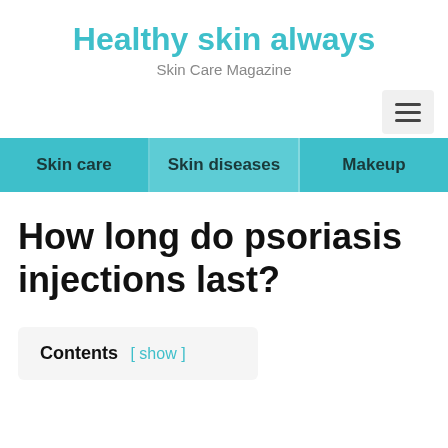Healthy skin always
Skin Care Magazine
Skin care | Skin diseases | Makeup
How long do psoriasis injections last?
Contents [ show ]